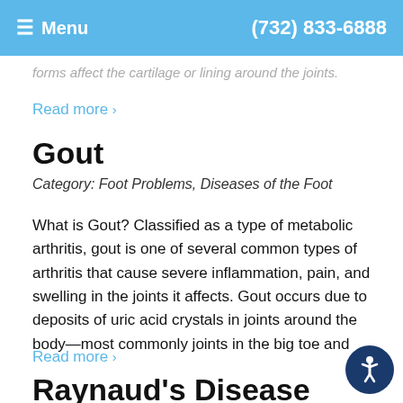≡ Menu   (732) 833-6888
forms affect the cartilage or lining around the joints.
Read more >
Gout
Category: Foot Problems, Diseases of the Foot
What is Gout? Classified as a type of metabolic arthritis, gout is one of several common types of arthritis that cause severe inflammation, pain, and swelling in the joints it affects. Gout occurs due to deposits of uric acid crystals in joints around the body—most commonly joints in the big toe and
Read more >
Raynaud's Disease